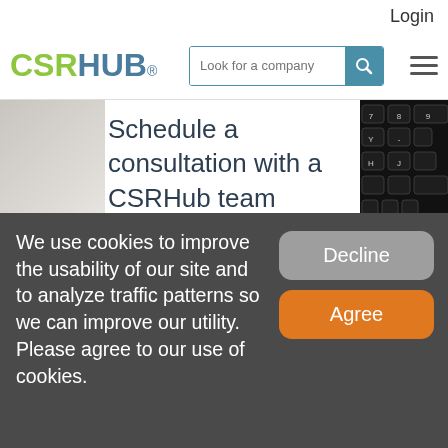Login
[Figure (logo): CSRHUB logo with green CSR and blue HUB text]
[Figure (screenshot): Search bar with 'Look for a company' placeholder and teal search button, plus hamburger menu icon]
Schedule a consultation with a CSRHub team member to explore your use case and discuss a tailored solution.
We use cookies to improve the usability of our site and to analyze traffic patterns so we can improve our utility. Please agree to our use of cookies.